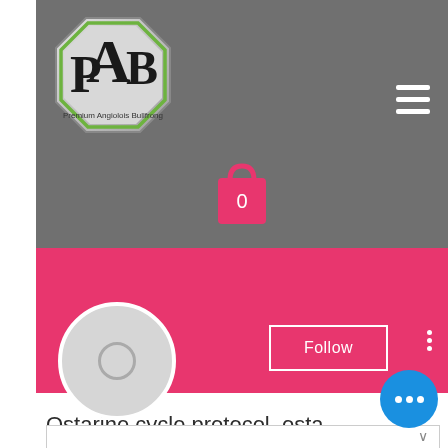[Figure (logo): PAB (Premium Angiosic Bullfrong) octagonal logo with silver/chrome border and green accents, black bull/animal silhouette in center]
[Figure (illustration): Shopping bag icon in pink/rose color with number 0 inside, indicating cart count]
[Figure (illustration): Gray circular profile avatar placeholder with inner circle outline]
Follow
Ostarine cycle protocol, osta...
0 Followers • 0 Following